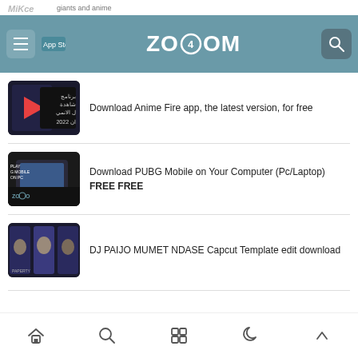ZOOOM - giants and anime
[Figure (screenshot): Thumbnail for Anime Fire app article showing Arabic text and app logo]
Download Anime Fire app, the latest version, for free
[Figure (screenshot): Thumbnail for PUBG Mobile on PC article showing laptop with game]
Download PUBG Mobile on Your Computer (Pc/Laptop) FREE FREE
[Figure (screenshot): Thumbnail for DJ PAIJO MUMET NDASE Capcut Template article showing animated characters]
DJ PAIJO MUMET NDASE Capcut Template edit download